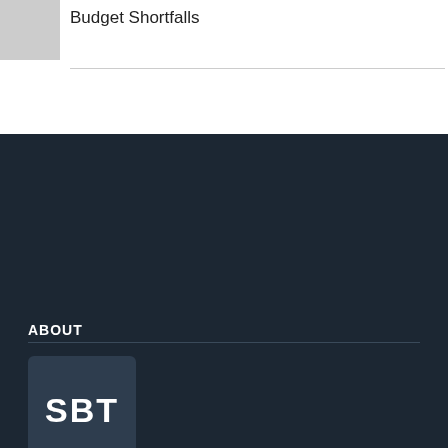[Figure (photo): Partial photo of a person in the top-left corner]
Budget Shortfalls
ABOUT
[Figure (logo): Small Business Today Magazine logo — dark rounded square with white bold text 'SBT']
Small Business Today Magazine is a monthly publication as both a glossy, hard copy and a powerful digital (online) edition. The principals of Small Business Today Magazine(Steve Levine, Barbara Davis-Levine, & John Cruise) bring more than 60 years of